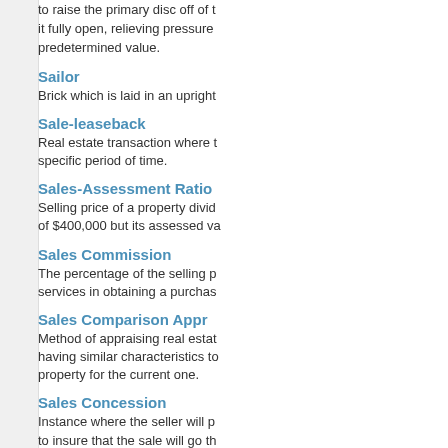to raise the primary disc off of it fully open, relieving pressure predetermined value.
Sailor
Brick which is laid in an upright
Sale-leaseback
Real estate transaction where t specific period of time.
Sales-Assessment Ratio
Selling price of a property divid of $400,000 but its assessed va
Sales Commission
The percentage of the selling p services in obtaining a purchas
Sales Comparison Appr
Method of appraising real estat having similar characteristics to property for the current one.
Sales Concession
Instance where the seller will p to insure that the sale will go th
Sales Contract
A contract outlining the t